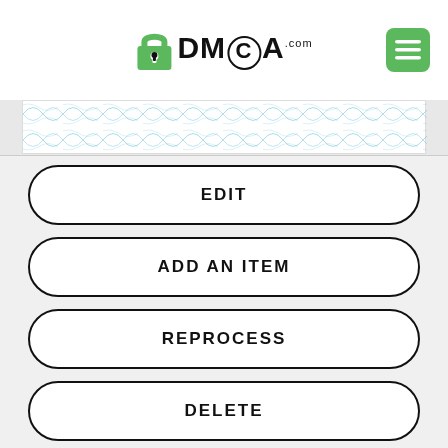[Figure (logo): DMCA.com logo with green padlock icon and hamburger menu button in top right]
[Figure (illustration): Partial view of a DMCA certificate with blue guilloche pattern border at the top]
EDIT
ADD AN ITEM
REPROCESS
DELETE
AUTH KEY